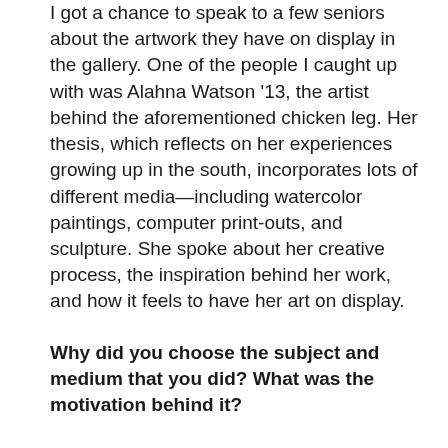I got a chance to speak to a few seniors about the artwork they have on display in the gallery. One of the people I caught up with was Alahna Watson '13, the artist behind the aforementioned chicken leg. Her thesis, which reflects on her experiences growing up in the south, incorporates lots of different media—including watercolor paintings, computer print-outs, and sculpture. She spoke about her creative process, the inspiration behind her work, and how it feels to have her art on display.
Why did you choose the subject and medium that you did? What was the motivation behind it?